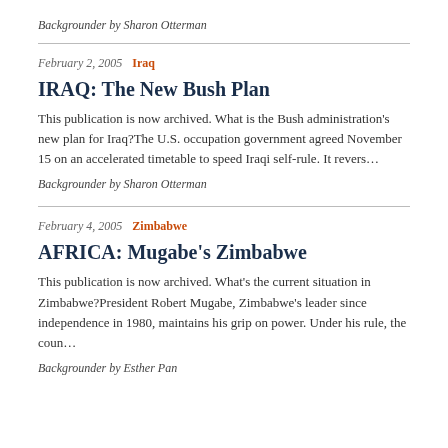Backgrounder by Sharon Otterman
February 2, 2005  Iraq
IRAQ: The New Bush Plan
This publication is now archived. What is the Bush administration's new plan for Iraq?The U.S. occupation government agreed November 15 on an accelerated timetable to speed Iraqi self-rule. It revers…
Backgrounder by Sharon Otterman
February 4, 2005  Zimbabwe
AFRICA: Mugabe's Zimbabwe
This publication is now archived. What's the current situation in Zimbabwe?President Robert Mugabe, Zimbabwe's leader since independence in 1980, maintains his grip on power. Under his rule, the coun…
Backgrounder by Esther Pan